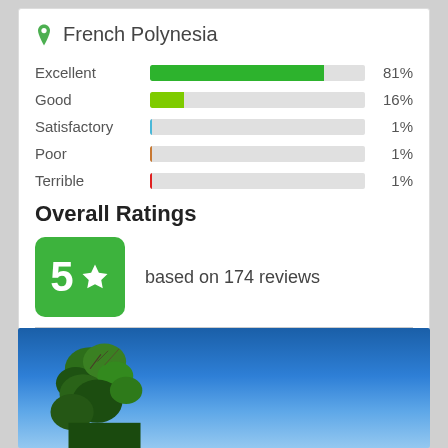French Polynesia
[Figure (bar-chart): Rating breakdown]
Overall Ratings
5 ★ based on 174 reviews
[Figure (photo): Tropical landscape with green trees against a blue sky, French Polynesia]